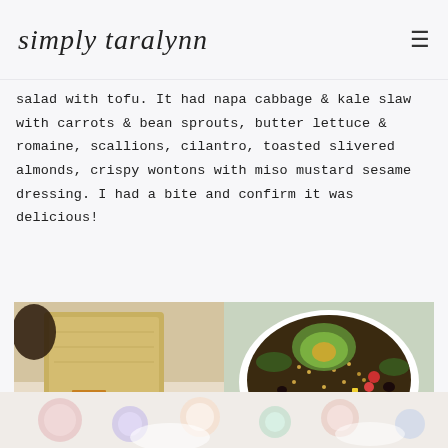simply taralynn
salad with tofu. It had napa cabbage & kale slaw with carrots & bean sprouts, butter lettuce & romaine, scallions, cilantro, toasted slivered almonds, crispy wontons with miso mustard sesame dressing. I had a bite and confirm it was delicious!
[Figure (photo): Two food photos side by side: left shows a wrapped sandwich/bread item with strawberries and a small cup; right shows a white bowl with quinoa salad topped with avocado, tomatoes, corn, and black beans.]
[Figure (photo): Partial bottom photo showing colorful food items from above, partially cropped.]